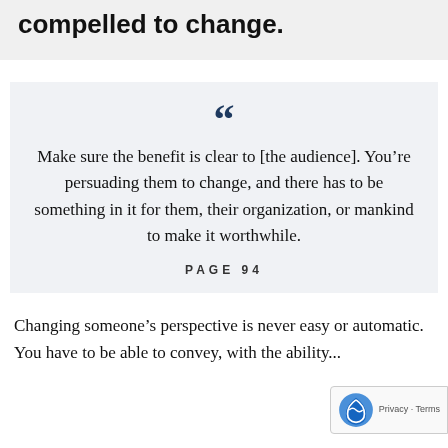compelled to change.
Make sure the benefit is clear to [the audience]. You’re persuading them to change, and there has to be something in it for them, their organization, or mankind to make it worthwhile.
PAGE 94
Changing someone’s perspective is never easy or automatic. You have to be able to convey, with the ability...